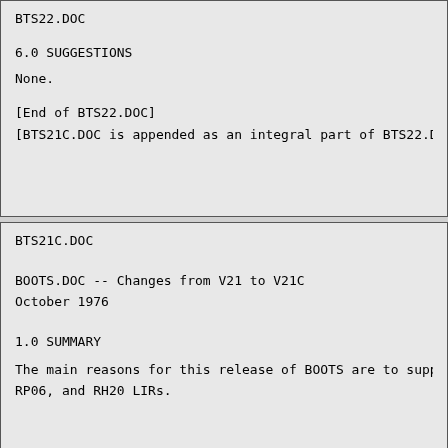BTS22.DOC
6.0  SUGGESTIONS
None.
[End of BTS22.DOC]
[BTS21C.DOC is appended as an integral part of BTS22.DO
BTS21C.DOC
BOOTS.DOC -- Changes from V21 to V21C
October 1976
1.0  SUMMARY
The main reasons for this release of BOOTS are to  supp
RP06, and RH20 LIRs.